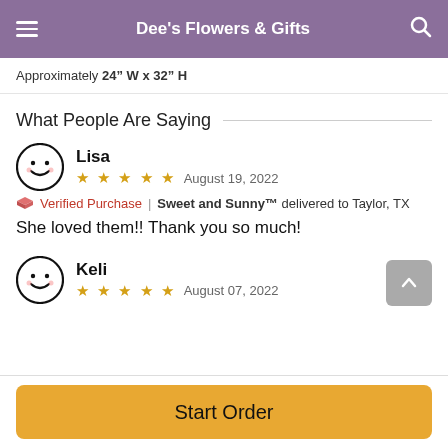Dee's Flowers & Gifts
Approximately 24" W x 32" H
What People Are Saying
Lisa
★★★★★  August 19, 2022
🌹 Verified Purchase | Sweet and Sunny™ delivered to Taylor, TX
She loved them!! Thank you so much!
Keli
★★★★★  August 07, 2022
Start Order